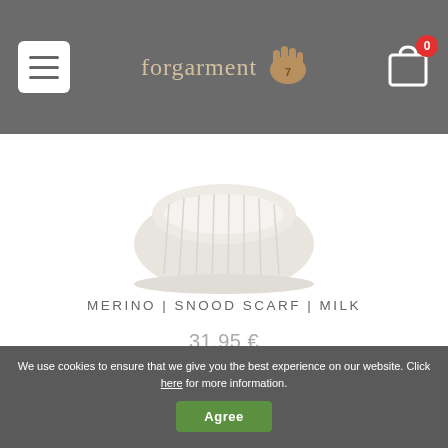Forgarment – navigation header with hamburger menu, logo, and shopping cart (0 items)
[Figure (photo): Bottom portion of a cream/milk colored merino wool snood scarf product photo against white background]
MERINO | Snood Scarf | MILK
31.95 €
We use cookies to ensure that we give you the best experience on our website. Click here for more information. Agree